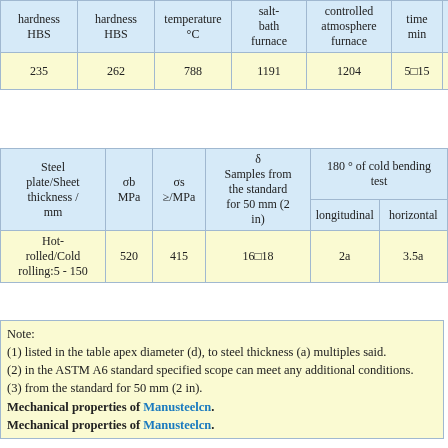| hardness HBS | hardness HBS | temperature °C | salt-bath furnace | controlled atmosphere furnace | time min | medium |
| --- | --- | --- | --- | --- | --- | --- |
| 235 | 262 | 788 | 1191 | 1204 | 5□15 | air cooling |
| Steel plate/Sheet thickness / mm | σb MPa | σs ≥/MPa | δ Samples from the standard for 50 mm (2 in) | longitudinal | horizontal |
| --- | --- | --- | --- | --- | --- |
| Hot-rolled/Cold rolling:5 - 150 | 520 | 415 | 16□18 | 2a | 3.5a |
Note:
(1) listed in the table apex diameter (d), to steel thickness (a) multiples said.
(2) in the ASTM A6 standard specified scope can meet any additional conditions.
(3) from the standard for 50 mm (2 in).
Mechanical properties of Manusteelcn.
Mechanical properties of Manusteelcn.